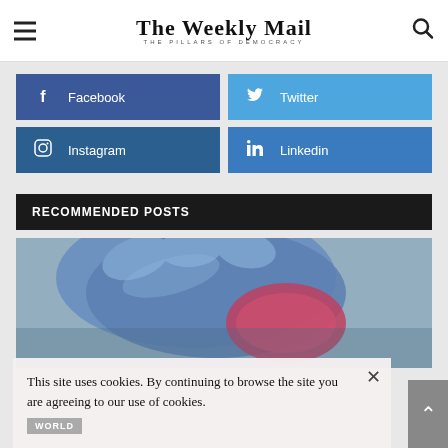The Weekly Mail — THE PILLARS OF DEMOCRACY
Facebook
Twitter
Instagram
Linkedin
RECOMMENDED POSTS
[Figure (photo): Close-up photo of a gloved hand (blue latex glove) handling a pink/red object, laboratory or medical setting]
WORLD
This site uses cookies. By continuing to browse the site you are agreeing to our use of cookies.